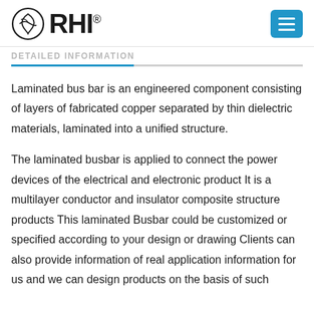RHI
DETAILED INFORMATION
Laminated bus bar is an engineered component consisting of layers of fabricated copper separated by thin dielectric materials, laminated into a unified structure.
The laminated busbar is applied to connect the power devices of the electrical and electronic product It is a multilayer conductor and insulator composite structure products This laminated Busbar could be customized or specified according to your design or drawing Clients can also provide information of real application information for us and we can design products on the basis of such